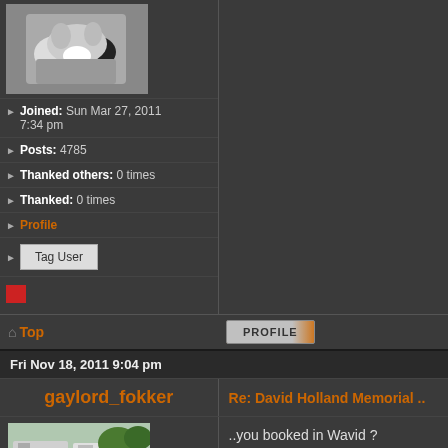[Figure (photo): Avatar photo of a small black and white dog]
Joined: Sun Mar 27, 2011 7:34 pm
Posts: 4785
Thanked others: 0 times
Thanked: 0 times
Profile
Tag User
Top
PROFILE
Fri Nov 18, 2011 9:04 pm
gaylord_fokker
Re: David Holland Memorial ..
[Figure (photo): Outdoor photo showing caravans/trailers in a field with a person in foreground]
..you booked in Wavid ?
Joined: Sat Nov 05, 2011